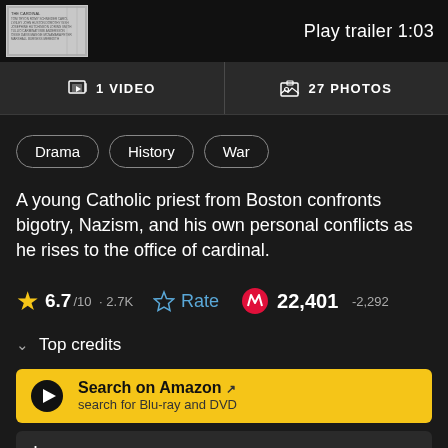[Figure (screenshot): Movie thumbnail image for The Cardinal]
Play trailer 1:03
1 VIDEO
27 PHOTOS
Drama
History
War
A young Catholic priest from Boston confronts bigotry, Nazism, and his own personal conflicts as he rises to the office of cardinal.
6.7/10 · 2.7K  Rate  22,401 -2,292
Top credits
Search on Amazon  search for Blu-ray and DVD
Add to Watchlist